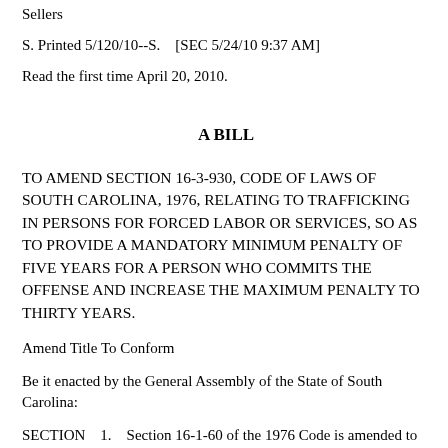Sellers
S. Printed 5/120/10--S.    [SEC 5/24/10 9:37 AM]
Read the first time April 20, 2010.
A BILL
TO AMEND SECTION 16-3-930, CODE OF LAWS OF SOUTH CAROLINA, 1976, RELATING TO TRAFFICKING IN PERSONS FOR FORCED LABOR OR SERVICES, SO AS TO PROVIDE A MANDATORY MINIMUM PENALTY OF FIVE YEARS FOR A PERSON WHO COMMITS THE OFFENSE AND INCREASE THE MAXIMUM PENALTY TO THIRTY YEARS.
Amend Title To Conform
Be it enacted by the General Assembly of the State of South Carolina:
SECTION    1.    Section 16-1-60 of the 1976 Code is amended to read: